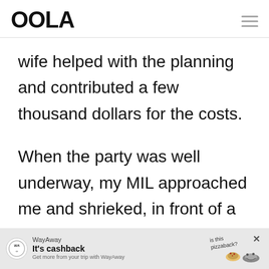OOLA
wife helped with the planning and contributed a few thousand dollars for the costs.
When the party was well underway, my MIL approached me and shrieked, in front of a group of
[Figure (other): WayAway advertisement banner: It's cashback. Get more from your trip with WayAway. Shows a hedgehog illustration and pizza image with handwritten text 'is this pizzaback?']